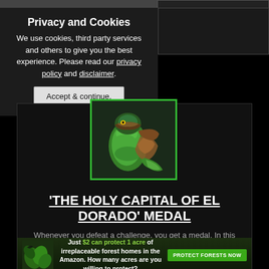Privacy and Cookies
We use cookies, third party services and others to give you the best experience. Please read our privacy policy and disclaimer.
Accept & continue.
[Figure (illustration): Game character illustration showing a green snake/cobra warrior in armor with brown equipment, framed in a green bordered card]
'THE HOLY CAPITAL OF EL DORADO' MEDAL
Whenever you defeat a challenge, you get a medal. In this case, you need to obtain the 'The Holy Capital of El Dorado' Medal.
[Figure (illustration): Advertisement banner: Just $2 can protect 1 acre of irreplaceable forest homes in the Amazon. How many acres are you willing to protect? PROTECT FORESTS NOW]